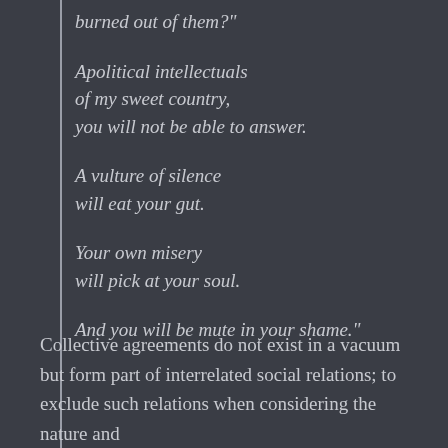burned out of them?"

Apolitical intellectuals
of my sweet country,
you will not be able to answer.

A vulture of silence
will eat your gut.

Your own misery
will pick at your soul.

And you will be mute in your shame."
Collective agreements do not exist in a vacuum but form part of interrelated social relations; to exclude such relations when considering the nature and